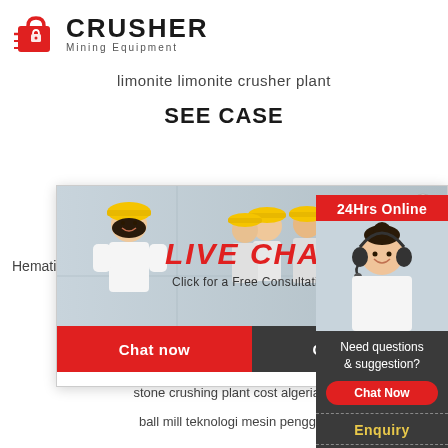[Figure (logo): Crusher Mining Equipment logo with red shopping bag icon and bold CRUSHER text]
limonite limonite crusher plant
SEE CASE
Hematite iron
[Figure (screenshot): Live chat popup overlay with workers in hard hats, LIVE CHAT heading in red italic, 'Click for a Free Consultation' subtext, Chat now (red) and Chat later (dark) buttons]
[Figure (screenshot): Right sidebar: 24Hrs Online header in red, photo of customer service representative with headset, Need questions & suggestion text, Chat Now button, Enquiry section, limingjlmofen@sina.com email]
coal crusher for hire philippines
stone crushing plant cost algeria in u
ball mill teknologi mesin penggiling